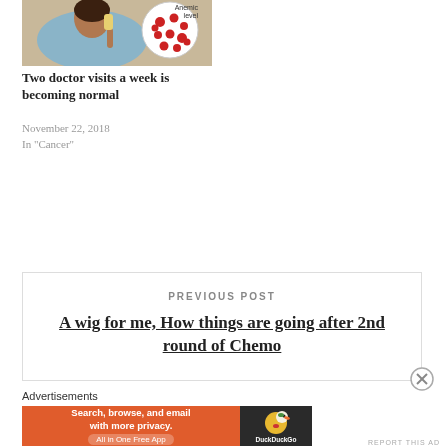[Figure (photo): A woman with short hair looking down, with a circular inset showing red blood cells labeled 'Anemic level']
Two doctor visits a week is becoming normal
November 22, 2018
In "Cancer"
PREVIOUS POST
A wig for me, How things are going after 2nd round of Chemo
Advertisements
[Figure (screenshot): DuckDuckGo advertisement banner: Search, browse, and email with more privacy. All in One Free App. DuckDuckGo logo.]